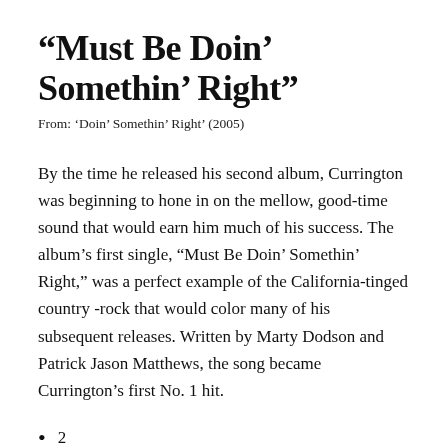“Must Be Doin’ Somethin’ Right”
From: ‘Doin’ Somethin’ Right’ (2005)
By the time he released his second album, Currington was beginning to hone in on the mellow, good-time sound that would earn him much of his success. The album’s first single, “Must Be Doin’ Somethin’ Right,” was a perfect example of the California-tinged country -rock that would color many of his subsequent releases. Written by Marty Dodson and Patrick Jason Matthews, the song became Currington’s first No. 1 hit.
2